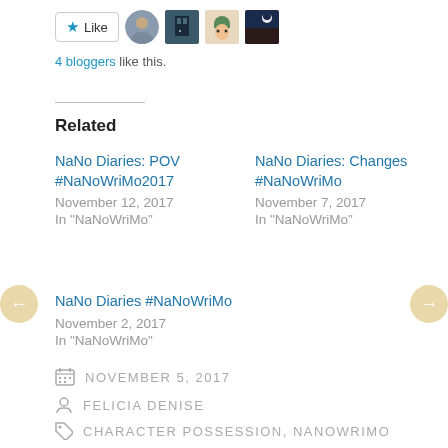[Figure (other): Like button with star icon and 4 blogger avatar thumbnails]
4 bloggers like this.
Related
NaNo Diaries: POV #NaNoWriMo2017
November 12, 2017
In "NaNoWriMo"
NaNo Diaries: Changes #NaNoWriMo
November 7, 2017
In "NaNoWriMo"
NaNo Diaries #NaNoWriMo
November 2, 2017
In "NaNoWriMo"
NOVEMBER 5, 2017
FELICIA DENISE
CHARACTER POSSESSION, NANOWRIMO